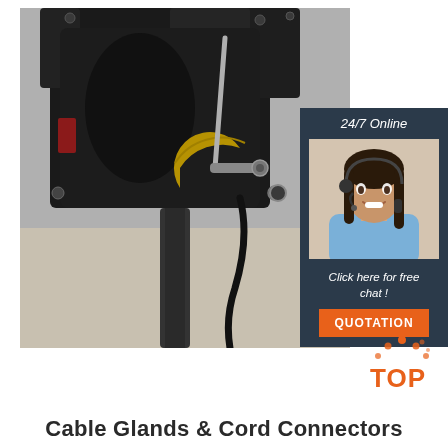[Figure (photo): Industrial motor or machine component in black/dark metal, with mechanical linkages, a yellow semi-circular part, cables, and bolts visible. Background appears to be a concrete floor area.]
[Figure (infographic): Dark blue panel showing '24/7 Online' text, a photo of a woman with a headset (customer service representative), 'Click here for free chat!' text, and an orange 'QUOTATION' button.]
[Figure (logo): TOP logo with orange dots arranged in an arc above the letters 'TOP' in orange and dark text.]
Cable Glands & Cord Connectors